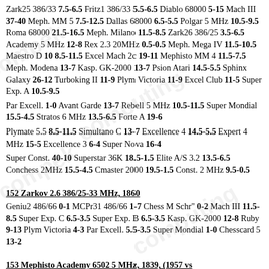Zark25 386/33 7.5-6.5 Fritz1 386/33 5.5-6.5 Diablo 68000 5-15 Mach III 37-40 Meph. MM 5 7.5-12.5 Dallas 68000 6.5-5.5 Polgar 5 MHz 10.5-9.5 Roma 68000 21.5-16.5 Meph. Milano 11.5-8.5 Zark26 386/25 3.5-6.5 Academy 5 MHz 12-8 Rex 2.3 20MHz 0.5-0.5 Meph. Mega IV 11.5-10.5 Maestro D 10 8.5-11.5 Excel Mach 2c 19-11 Mephisto MM 4 11.5-7.5 Meph. Modena 13-7 Kasp. GK-2000 13-7 Psion Atari 14.5-5.5 Sphinx Galaxy 26-12 Turboking II 11-9 Plym Victoria 11-9 Excel Club 11-5 Super Exp. A 10.5-9.5
Par Excell. 1-0 Avant Garde 13-7 Rebell 5 MHz 10.5-11.5 Super Mondial 15.5-4.5 Stratos 6 MHz 13.5-6.5 Forte A 19-6
Plymate 5.5 8.5-11.5 Simultano C 13-7 Excellence 4 14.5-5.5 Expert 4 MHz 15-5 Excellence 3 6-4 Super Nova 16-4
Super Const. 40-10 Superstar 36K 18.5-1.5 Elite A/S 3.2 13.5-6.5 Conchess 2MHz 15.5-4.5 Cmaster 2000 19.5-1.5 Const. 2 MHz 9.5-0.5
152 Zarkov 2.6 386/25-33 MHz, 1860
Geniu2 486/66 0-1 MCPr31 486/66 1-7 Chess M Schr" 0-2 Mach III 11.5-8.5 Super Exp. C 6.5-3.5 Super Exp. B 6.5-3.5 Kasp. GK-2000 12-8 Ruby 9-13 Plym Victoria 4-3 Par Excell. 5.5-3.5 Super Mondial 1-0 Chesscard 5 13-2
153 Mephisto Academy 6502 5 MHz, 1839, (1957 vs humans, 21 games)